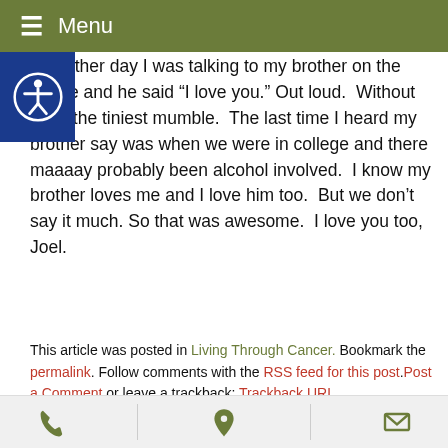Menu
The other day I was talking to my brother on the phone and he said “I love you.” Out loud. Without even the tiniest mumble. The last time I heard my brother say was when we were in college and there maaaay probably been alcohol involved. I know my brother loves me and I love him too. But we don’t say it much. So that was awesome. I love you too, Joel.
This article was posted in Living Through Cancer. Bookmark the permalink. Follow comments with the RSS feed for this post. Post a Comment or leave a trackback: Trackback URL.
« Living Through Cancer
Cancer. Ain’t nobody got time for that. »